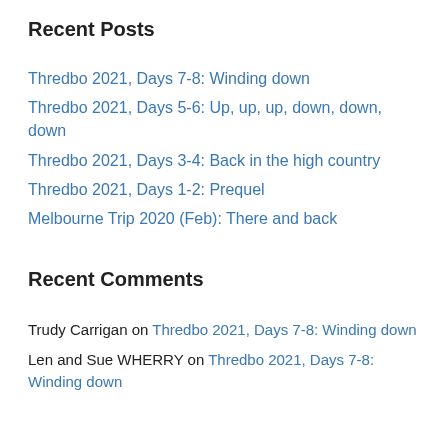Recent Posts
Thredbo 2021, Days 7-8: Winding down
Thredbo 2021, Days 5-6: Up, up, up, down, down, down
Thredbo 2021, Days 3-4: Back in the high country
Thredbo 2021, Days 1-2: Prequel
Melbourne Trip 2020 (Feb): There and back
Recent Comments
Trudy Carrigan on Thredbo 2021, Days 7-8: Winding down
Len and Sue WHERRY on Thredbo 2021, Days 7-8: Winding down